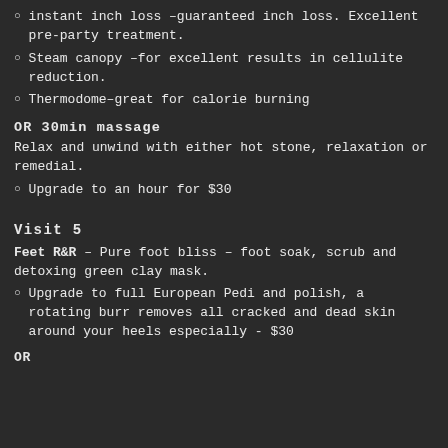instant inch loss –guaranteed inch loss. Excellent pre-party treatment.
Steam canopy –for excellent results in cellulite reduction.
Thermodome–great for calorie burning
OR 30min massage
Relax and unwind with either hot stone, relaxation or remedial.
Upgrade to an hour for $30
Visit 5
Feet R&R – Pure foot bliss – foot soak, scrub and detoxing green clay mask.
Upgrade to full European Pedi and polish, a rotating burr removes all cracked and dead skin around your heels especially - $30
OR